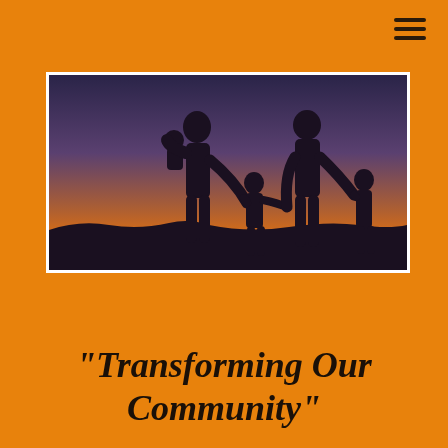[Figure (photo): Hamburger menu icon (three horizontal lines) in dark color on orange background, top right corner]
[Figure (photo): Silhouette of a family of four (two adults and two children holding hands) against a sunset sky with warm orange and deep blue gradient colors]
"Transforming Our Community"